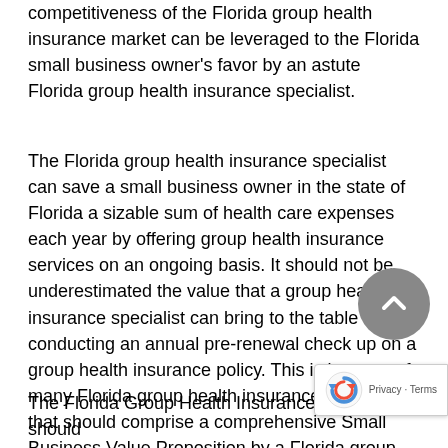competitiveness of the Florida group health insurance market can be leveraged to the Florida small business owner's favor by an astute Florida group health insurance specialist.
The Florida group health insurance specialist can save a small business owner in the state of Florida a sizable sum of health care expenses each year by offering group health insurance services on an ongoing basis. It should not be underestimated the value that a group health insurance specialist can bring to the table by conducting an annual pre-renewal check up on a group health insurance policy. This is just one of many Florida group health insurance practices that should comprise a comprehensive Small Business Value Proposition by a Florida group health insurance specialist.
The Florida Group Health Insurance Specialist should independent insurance agent (meaning that he/she can